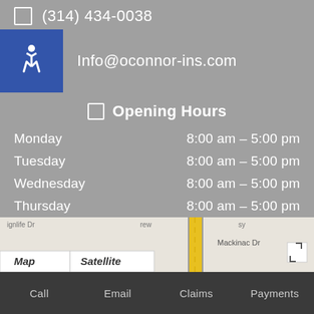(314) 434-0038
Info@oconnor-ins.com
Opening Hours
| Day | Hours |
| --- | --- |
| Monday | 8:00 am – 5:00 pm |
| Tuesday | 8:00 am – 5:00 pm |
| Wednesday | 8:00 am – 5:00 pm |
| Thursday | 8:00 am – 5:00 pm |
| Friday | 8:00 am – 5:00 pm |
| Saturday | Closed |
| Sunday | Closed |
[Figure (map): Google Maps embedded map with Map/Satellite toggle buttons, showing a road with yellow center lines]
Call   Email   Claims   Payments